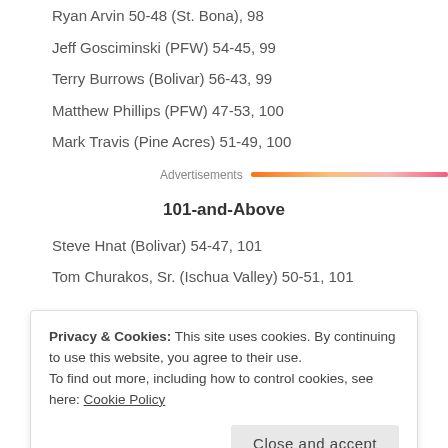Ryan Arvin 50-48 (St. Bona), 98
Jeff Gosciminski (PFW) 54-45, 99
Terry Burrows (Bolivar) 56-43, 99
Matthew Phillips (PFW) 47-53, 100
Mark Travis (Pine Acres) 51-49, 100
[Figure (other): Advertisement banner bar with orange-to-pink gradient]
101-and-Above
Steve Hnat (Bolivar) 54-47, 101
Tom Churakos, Sr. (Ischua Valley) 50-51, 101
Privacy & Cookies: This site uses cookies. By continuing to use this website, you agree to their use.
To find out more, including how to control cookies, see here: Cookie Policy
Close and accept